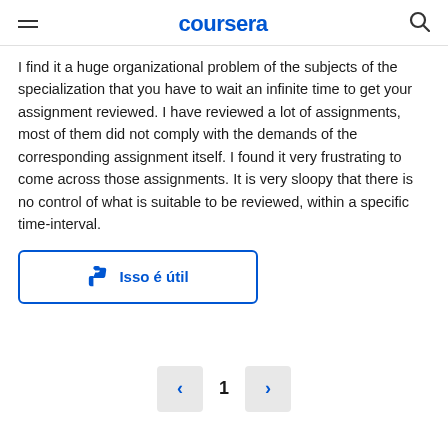coursera
I find it a huge organizational problem of the subjects of the specialization that you have to wait an infinite time to get your assignment reviewed. I have reviewed a lot of assignments, most of them did not comply with the demands of the corresponding assignment itself. I found it very frustrating to come across those assignments. It is very sloopy that there is no control of what is suitable to be reviewed, within a specific time-interval.
Isso é útil